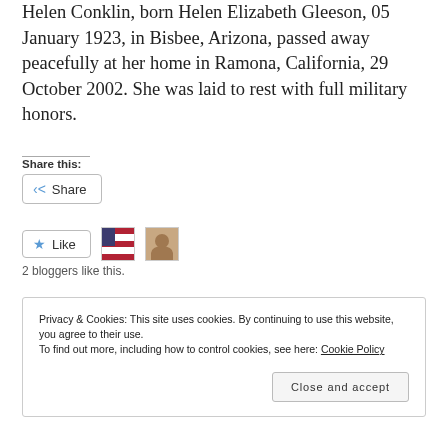Helen Conklin, born Helen Elizabeth Gleeson, 05 January 1923, in Bisbee, Arizona, passed away peacefully at her home in Ramona, California, 29 October 2002. She was laid to rest with full military honors.
Share this:
Share
Like
2 bloggers like this.
Privacy & Cookies: This site uses cookies. By continuing to use this website, you agree to their use.
To find out more, including how to control cookies, see here: Cookie Policy
Close and accept